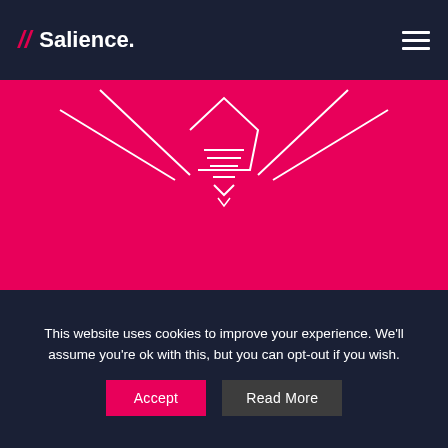// Salience.
[Figure (illustration): White line drawing of a lightbulb on a magenta background with radiating lines suggesting illumination]
Talk To Us
We love a good chinwag.
01244 564 500
This website uses cookies to improve your experience. We'll assume you're ok with this, but you can opt-out if you wish. Accept | Read More